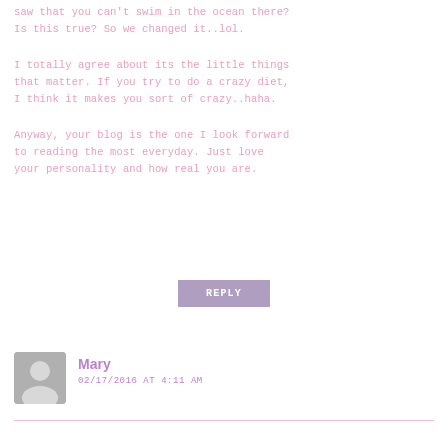saw that you can't swim in the ocean there? Is this true? So we changed it..lol.
I totally agree about its the little things that matter. If you try to do a crazy diet, I think it makes you sort of crazy..haha.
Anyway, your blog is the one I look forward to reading the most everyday. Just love your personality and how real you are.
REPLY
Mary
02/17/2016 AT 4:11 AM